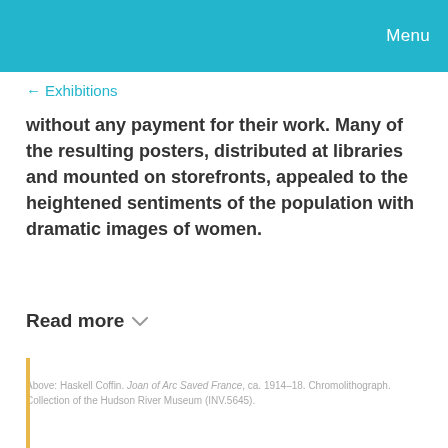Menu
← Exhibitions
without any payment for their work. Many of the resulting posters, distributed at libraries and mounted on storefronts, appealed to the heightened sentiments of the population with dramatic images of women.
Read more
Above: Haskell Coffin. Joan of Arc Saved France, ca. 1914–18. Chromolithograph. Collection of the Hudson River Museum (INV.5645).